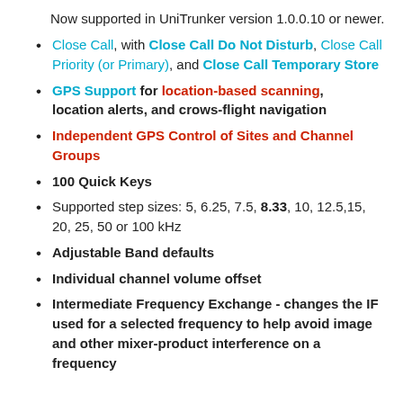Now supported in UniTrunker version 1.0.0.10 or newer.
Close Call, with Close Call Do Not Disturb, Close Call Priority (or Primary), and Close Call Temporary Store
GPS Support for location-based scanning, location alerts, and crows-flight navigation
Independent GPS Control of Sites and Channel Groups
100 Quick Keys
Supported step sizes: 5, 6.25, 7.5, 8.33, 10, 12.5,15, 20, 25, 50 or 100 kHz
Adjustable Band defaults
Individual channel volume offset
Intermediate Frequency Exchange - changes the IF used for a selected frequency to help avoid image and other mixer-product interference on a frequency